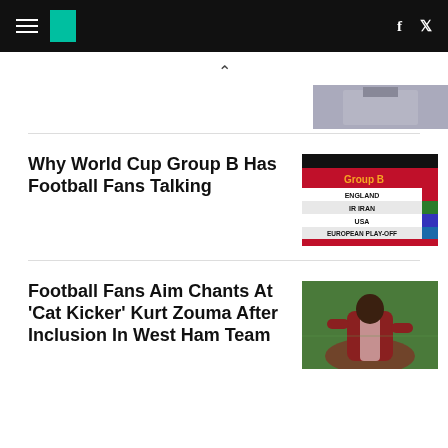HuffPost navigation header with hamburger menu, logo, Facebook and Twitter icons
[Figure (photo): Partial thumbnail of a person in suit, cropped at top]
Why World Cup Group B Has Football Fans Talking
[Figure (infographic): Group B World Cup draw showing England, IR Iran, USA, European Play-Off teams on red and white background]
Football Fans Aim Chants At 'Cat Kicker' Kurt Zouma After Inclusion In West Ham Team
[Figure (photo): Football player in maroon/red jersey crouching on pitch]